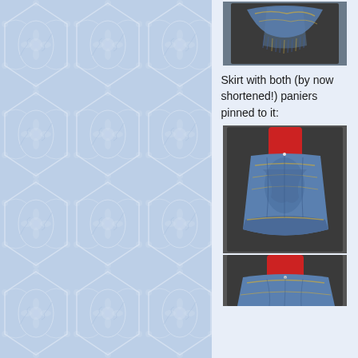[Figure (photo): A blue and gold patterned shawl/scarf draped over a dark mannequin torso, with fringe at the bottom edge.]
Skirt with both (by now shortened!) paniers pinned to it:
[Figure (photo): A blue and gold patterned skirt with gathered/draped fabric pinned to a red mannequin torso, front view showing bustle-style construction.]
[Figure (photo): A red mannequin torso with a wide blue patterned skirt at the bottom, partially visible.]